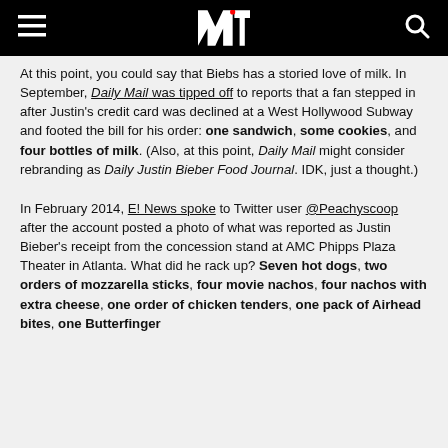MTV header with logo, menu and search icons
At this point, you could say that Biebs has a storied love of milk. In September, Daily Mail was tipped off to reports that a fan stepped in after Justin's credit card was declined at a West Hollywood Subway and footed the bill for his order: one sandwich, some cookies, and four bottles of milk. (Also, at this point, Daily Mail might consider rebranding as Daily Justin Bieber Food Journal. IDK, just a thought.)
In February 2014, E! News spoke to Twitter user @Peachyscoop after the account posted a photo of what was reported as Justin Bieber's receipt from the concession stand at AMC Phipps Plaza Theater in Atlanta. What did he rack up? Seven hot dogs, two orders of mozzarella sticks, four movie nachos, four nachos with extra cheese, one order of chicken tenders, one pack of Airhead bites, one Butterfinger